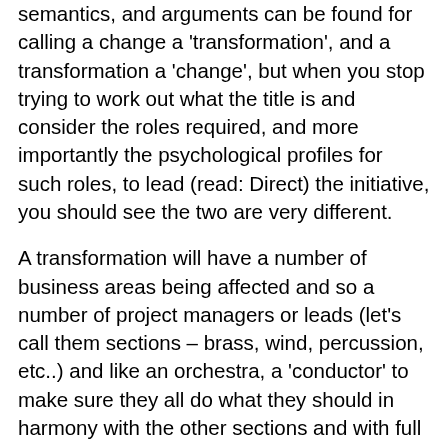semantics, and arguments can be found for calling a change a 'transformation', and a transformation a 'change', but when you stop trying to work out what the title is and consider the roles required, and more importantly the psychological profiles for such roles, to lead (read: Direct) the initiative, you should see the two are very different.
A transformation will have a number of business areas being affected and so a number of project managers or leads (let's call them sections – brass, wind, percussion, etc..) and like an orchestra, a 'conductor' to make sure they all do what they should in harmony with the other sections and with full awareness of each others part in the 'composition' or 'symphony'.